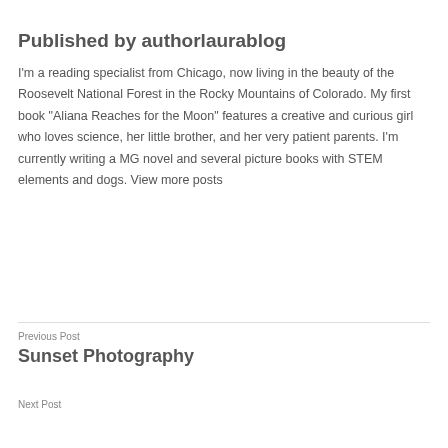Published by authorlaurablog
I'm a reading specialist from Chicago, now living in the beauty of the Roosevelt National Forest in the Rocky Mountains of Colorado. My first book "Aliana Reaches for the Moon" features a creative and curious girl who loves science, her little brother, and her very patient parents. I'm currently writing a MG novel and several picture books with STEM elements and dogs. View more posts
Previous Post
Sunset Photography
Next Post